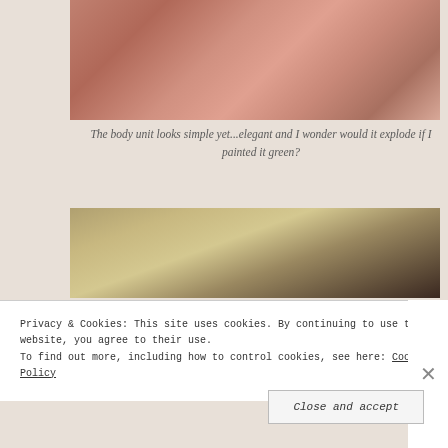[Figure (photo): Close-up photo of a human hand/fist, brownish skin tone, blurred background]
The body unit looks simple yet...elegant and I wonder would it explode if I painted it green?
[Figure (photo): Close-up photo of a shiny metallic or golden surface, partially in shadow]
Privacy & Cookies: This site uses cookies. By continuing to use this website, you agree to their use.
To find out more, including how to control cookies, see here: Cookie Policy
Close and accept